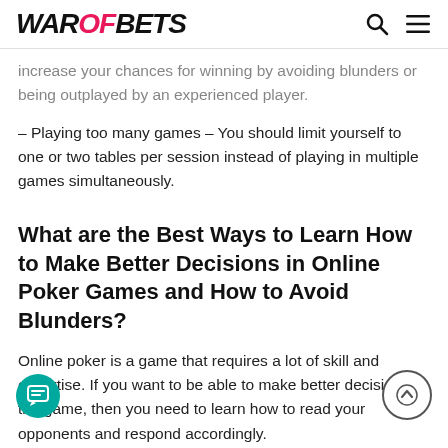WAROFBETS
increase your chances for winning by avoiding blunders or being outplayed by an experienced player.
– Playing too many games – You should limit yourself to one or two tables per session instead of playing in multiple games simultaneously.
What are the Best Ways to Learn How to Make Better Decisions in Online Poker Games and How to Avoid Blunders?
Online poker is a game that requires a lot of skill and expertise. If you want to be able to make better decisions in the game, then you need to learn how to read your opponents and respond accordingly.